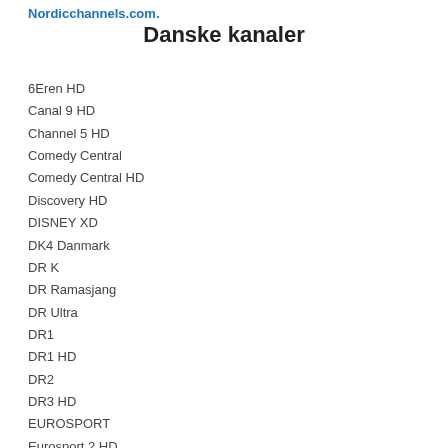Nordicchannels.com.
Danske kanaler
6Eren HD
Canal 9 HD
Channel 5 HD
Comedy Central
Comedy Central HD
Discovery HD
DISNEY XD
DK4 Danmark
DR K
DR Ramasjang
DR Ultra
DR1
DR1 HD
DR2
DR3 HD
EUROSPORT
Eurosport 2 HD